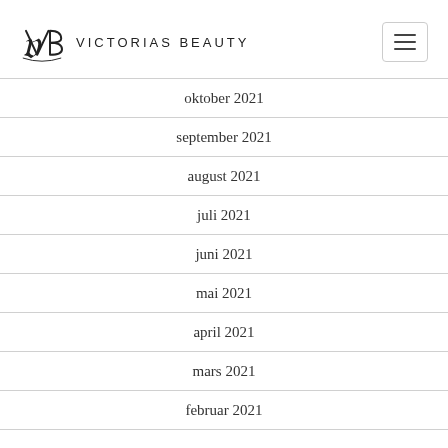Victorias Beauty
oktober 2021
september 2021
august 2021
juli 2021
juni 2021
mai 2021
april 2021
mars 2021
februar 2021